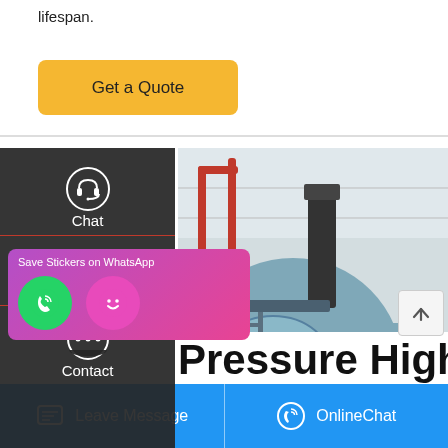lifespan.
Get a Quote
[Figure (photo): Industrial boiler room with large cylindrical blue boilers, red pipework, and metal staircases inside a factory building]
Pressure High
Save Stickers on WhatsApp
Leave Message
OnlineChat